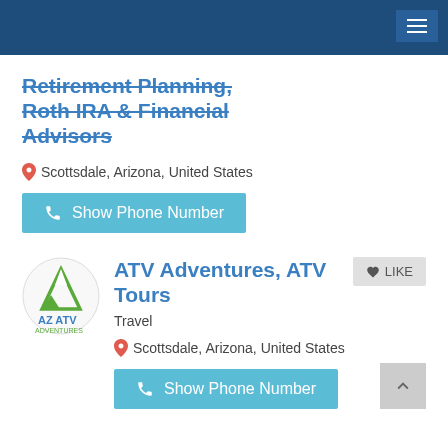Retirement Planning, Roth IRA & Financial Advisors
Scottsdale, Arizona, United States
Show Phone Number
[Figure (logo): AZ ATV Adventures logo — green mountain peak with AZ ATV text]
ATV Adventures, ATV Tours
Travel
Scottsdale, Arizona, United States
Show Phone Number